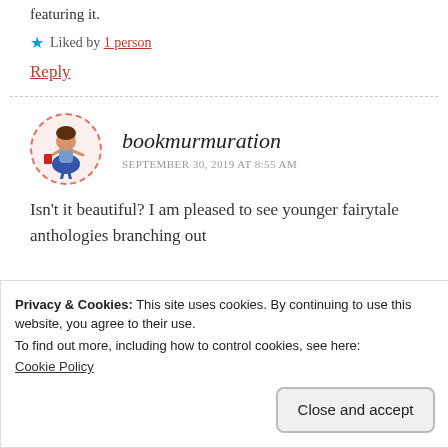featuring it.
★ Liked by 1 person
Reply
bookmurmuration
SEPTEMBER 30, 2019 AT 8:55 AM
Isn't it beautiful? I am pleased to see younger fairytale anthologies branching out
Privacy & Cookies: This site uses cookies. By continuing to use this website, you agree to their use.
To find out more, including how to control cookies, see here:
Cookie Policy
Close and accept